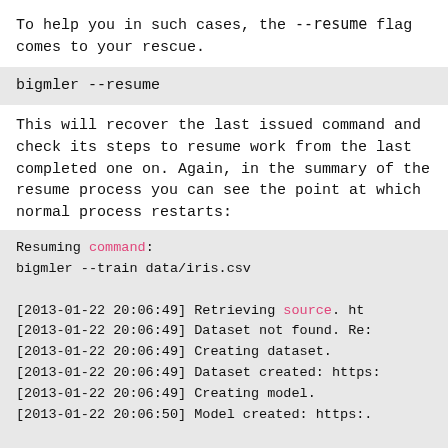To help you in such cases, the --resume flag comes to your rescue.
bigmler --resume
This will recover the last issued command and check its steps to resume work from the last completed one on. Again, in the summary of the resume process you can see the point at which normal process restarts:
Resuming command:
bigmler --train data/iris.csv

[2013-01-22 20:06:49] Retrieving source. ht
[2013-01-22 20:06:49] Dataset not found. Re:
[2013-01-22 20:06:49] Creating dataset.
[2013-01-22 20:06:49] Dataset created: https:
[2013-01-22 20:06:49] Creating model.
[2013-01-22 20:06:50] Model created: https:.

Generated files: